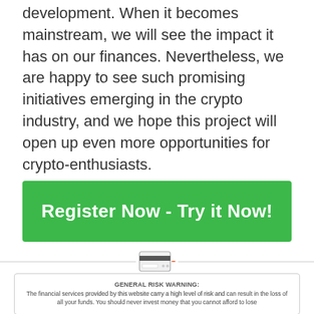development. When it becomes mainstream, we will see the impact it has on our finances. Nevertheless, we are happy to see such promising initiatives emerging in the crypto industry, and we hope this project will open up even more opportunities for crypto-enthusiasts.
[Figure (other): Green call-to-action button with white text reading 'Register Now - Try it Now!']
[Figure (other): A credit card icon with a small red arrow pointing to it, centered on a horizontal divider line]
GENERAL RISK WARNING: The financial services provided by this website carry a high level of risk and can result in the loss of all your funds. You should never invest money that you cannot afford to lose